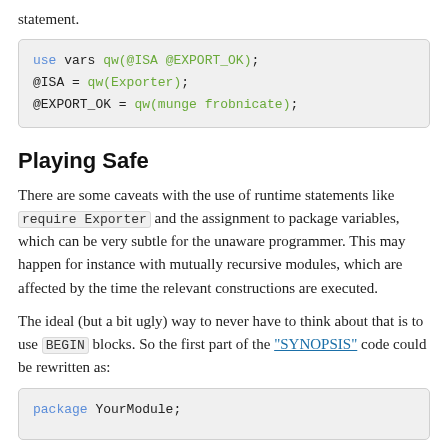statement.
use vars qw(@ISA @EXPORT_OK);
@ISA = qw(Exporter);
@EXPORT_OK = qw(munge frobnicate);
Playing Safe
There are some caveats with the use of runtime statements like require Exporter and the assignment to package variables, which can be very subtle for the unaware programmer. This may happen for instance with mutually recursive modules, which are affected by the time the relevant constructions are executed.
The ideal (but a bit ugly) way to never have to think about that is to use BEGIN blocks. So the first part of the "SYNOPSIS" code could be rewritten as:
package YourModule...